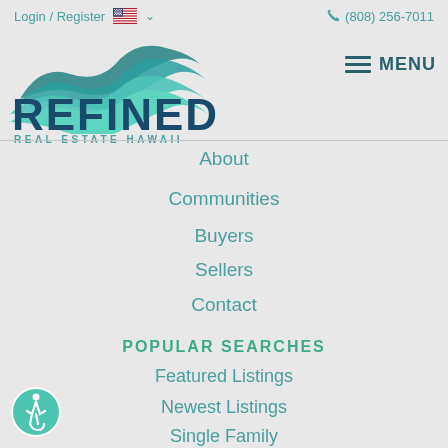Login / Register   (808) 256-7011
[Figure (logo): Refined Real Estate Hawaii logo with wave/ocean graphic in teal and dark blue, text REFINED in dark navy, subtitle REAL ESTATE HAWAII in teal]
About
Communities
Buyers
Sellers
Contact
POPULAR SEARCHES
Featured Listings
Newest Listings
Single Family
Condos & Townhomes
Luxury Homes